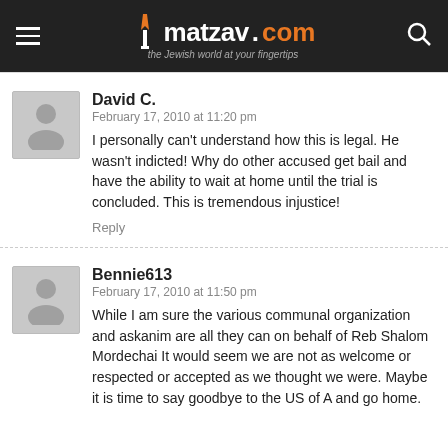matzav.com — the Jewish world at your fingertips
David C.
February 17, 2010 at 11:20 pm
I personally can't understand how this is legal. He wasn't indicted! Why do other accused get bail and have the ability to wait at home until the trial is concluded. This is tremendous injustice!
Reply
Bennie613
February 17, 2010 at 11:50 pm
While I am sure the various communal organization and askanim are all they can on behalf of Reb Shalom Mordechai It would seem we are not as welcome or respected or accepted as we thought we were. Maybe it is time to say goodbye to the US of A and go home.